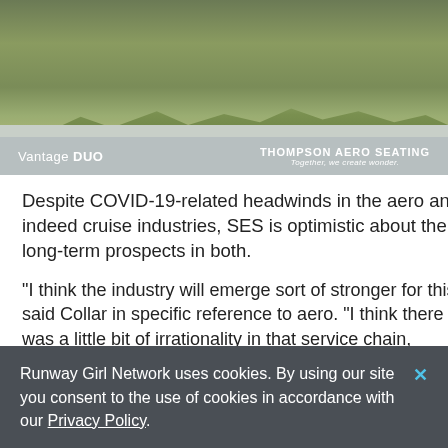[Figure (photo): Product photo of Vantage DUO aircraft seat with green grass/landscape in background. Thompson Aero Seating branding with tagline 'Together, we create wonder.' visible at bottom of image.]
Despite COVID-19-related headwinds in the aero and indeed cruise industries, SES is optimistic about the long-term prospects in both.
“I think the industry will emerge sort of stronger for this,” said Collar in specific reference to aero. “I think there was a little bit of irrationality in that service chain, particularly I would say in aviation over the years proceeding so I’m confident that that chain will emerge more strongly. As you know, we’re an
Runway Girl Network uses cookies. By using our site you consent to the use of cookies in accordance with our Privacy Policy.